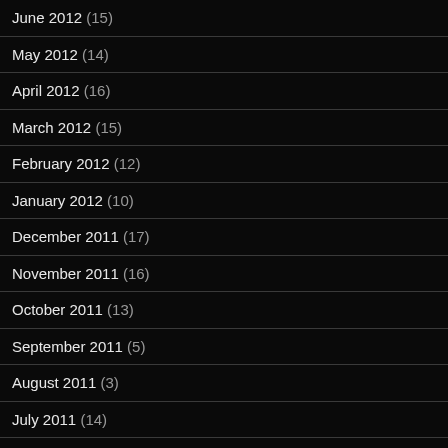June 2012 (15)
May 2012 (14)
April 2012 (16)
March 2012 (15)
February 2012 (12)
January 2012 (10)
December 2011 (17)
November 2011 (16)
October 2011 (13)
September 2011 (5)
August 2011 (3)
July 2011 (14)
June 2011 (14)